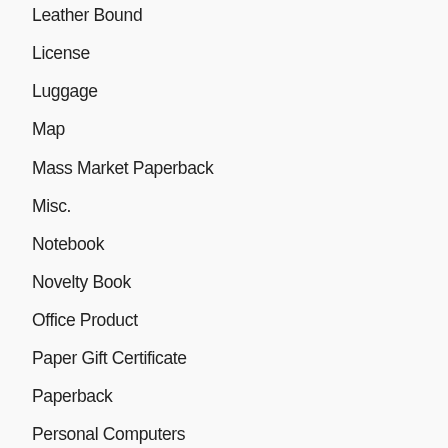Leather Bound
License
Luggage
Map
Mass Market Paperback
Misc.
Notebook
Novelty Book
Office Product
Paper Gift Certificate
Paperback
Personal Computers
Print on Demand